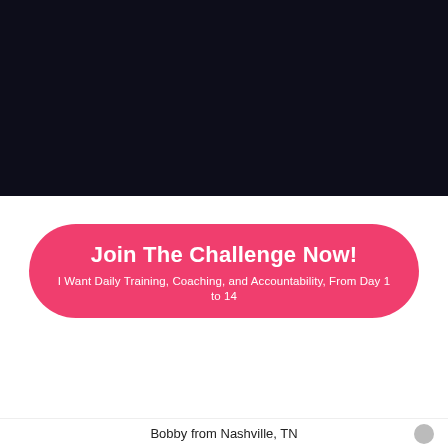[Figure (photo): Dark background image, nearly black, appears to be a night scene]
Join The Challenge Now!
I Want Daily Training, Coaching, and Accountability, From Day 1 to 14
I'm Holding NOTHING BACK!
ALL These BONUSES Are Included When You Join
Bobby from Nashville, TN